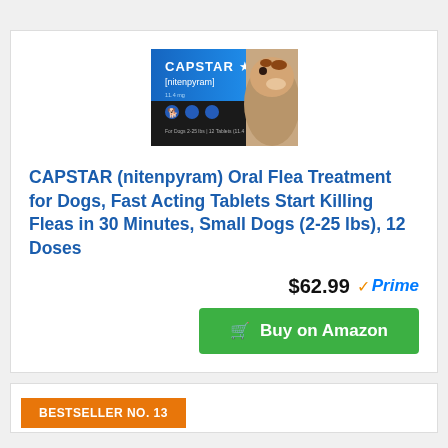[Figure (photo): CAPSTAR (nitenpyram) product box image showing a dog and blue/black packaging]
CAPSTAR (nitenpyram) Oral Flea Treatment for Dogs, Fast Acting Tablets Start Killing Fleas in 30 Minutes, Small Dogs (2-25 lbs), 12 Doses
$62.99 ✓Prime
Buy on Amazon
BESTSELLER NO. 13